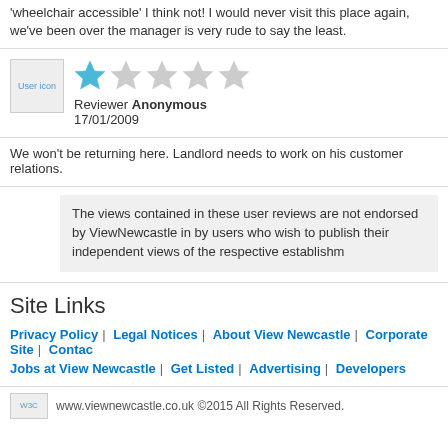'wheelchair accessible' I think not! I would never visit this place again, we've been over the manager is very rude to say the least.
[Figure (other): User icon placeholder image]
[Figure (other): Star rating: 1 out of 5 stars (one filled blue star, four grey stars)]
Reviewer Anonymous
17/01/2009
We won't be returning here. Landlord needs to work on his customer relations.
The views contained in these user reviews are not endorsed by ViewNewcastle in by users who wish to publish their independent views of the respective establishm
Site Links
Privacy Policy | Legal Notices | About View Newcastle | Corporate Site | Contact
Jobs at View Newcastle | Get Listed | Advertising | Developers
www.viewnewcastle.co.uk ©2015 All Rights Reserved.